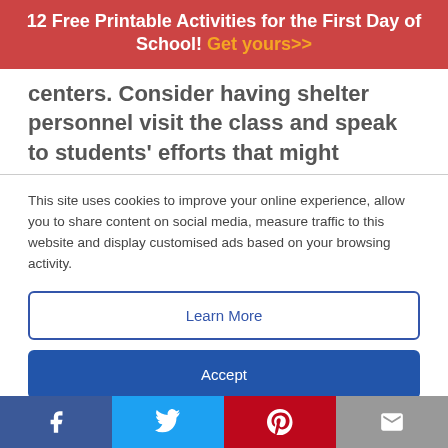12 Free Printable Activities for the First Day of School! Get yours>>
centers. Consider having shelter personnel visit the class and speak to students' efforts that might
This site uses cookies to improve your online experience, allow you to share content on social media, measure traffic to this website and display customised ads based on your browsing activity.
Learn More
Accept
goods.
< See More SEL Resources for Grades 6–12